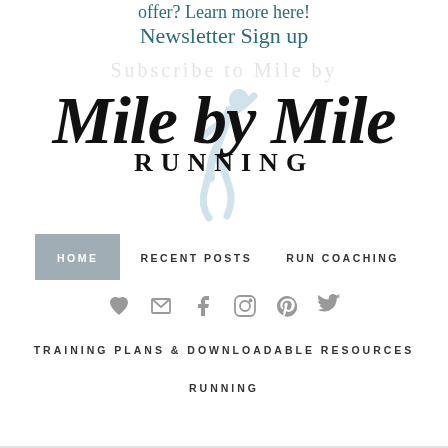offer? Learn more here!
Newsletter Sign up
[Figure (logo): Mile by Mile Running logo with script text and runner silhouette]
HOME   RECENT POSTS   RUN COACHING
[Figure (infographic): Social media icons: heart, email, facebook, instagram, pinterest, twitter]
TRAINING PLANS & DOWNLOADABLE RESOURCES
RUNNING